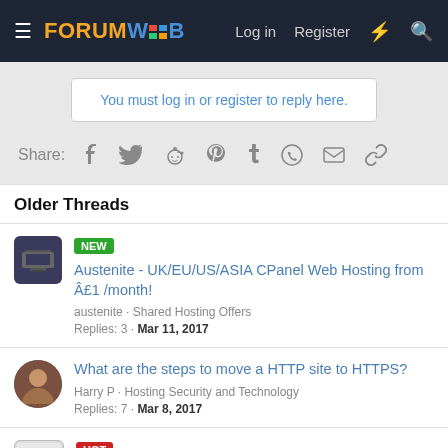FORUMWEB – Log in | Register
You must log in or register to reply here.
Share:
Older Threads
NEW – Austenite - UK/EU/US/ASIA CPanel Web Hosting from £1 /month! | austenite · Shared Hosting Offers | Replies: 3 · Mar 11, 2017
What are the steps to move a HTTP site to HTTPS? | Harry P · Hosting Security and Technology | Replies: 7 · Mar 8, 2017
HOT – Cheap UK Servers : 10% OFF : starts £99/Mo : Free Control Panel : FREE Migration…